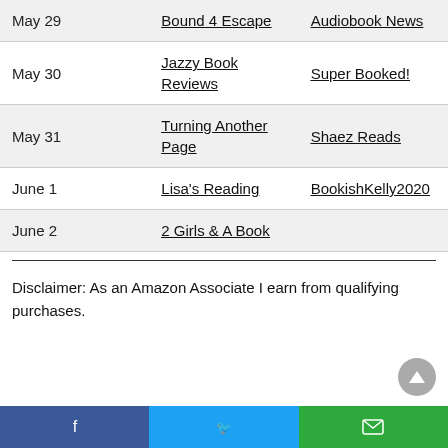| Date | Link 1 | Link 2 |
| --- | --- | --- |
| May 29 | Bound 4 Escape | Audiobook News |
| May 30 | Jazzy Book Reviews | Super Booked! |
| May 31 | Turning Another Page | Shaez Reads |
| June 1 | Lisa's Reading | BookishKelly2020 |
| June 2 | 2 Girls & A Book |  |
Disclaimer: As an Amazon Associate I earn from qualifying purchases.